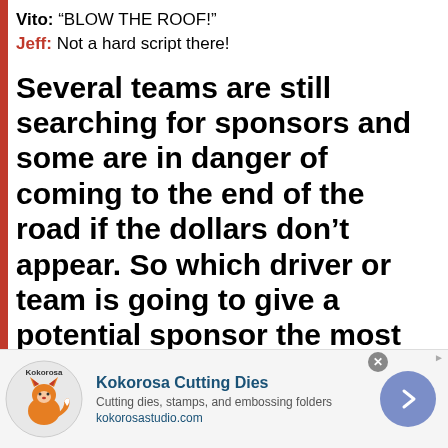Vito: "BLOW THE ROOF!"
Jeff: Not a hard script there!
Several teams are still searching for sponsors and some are in danger of coming to the end of the road if the dollars don't appear. So which driver or team is going to give a potential sponsor the most bang for their buck, and what companies would find
[Figure (other): Advertisement banner for Kokorosa Cutting Dies showing logo with fox mascot, text 'Kokorosa Cutting Dies', 'Cutting dies, stamps, and embossing folders', 'kokorosastudio.com', and a forward arrow button]